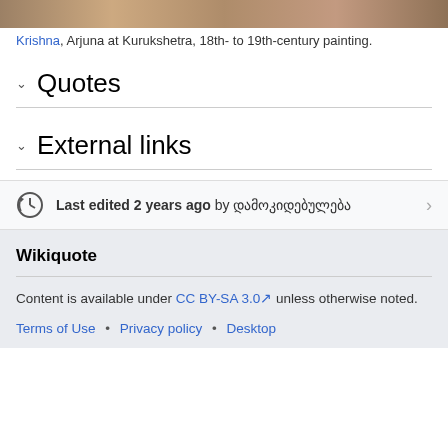[Figure (photo): Top portion of a painting showing Krishna and Arjuna at Kurukshetra, 18th- to 19th-century painting.]
Krishna, Arjuna at Kurukshetra, 18th- to 19th-century painting.
Quotes
External links
Last edited 2 years ago by დამოკიდებულება
Wikiquote
Content is available under CC BY-SA 3.0 unless otherwise noted.
Terms of Use • Privacy policy • Desktop